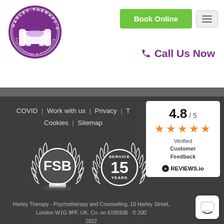[Figure (logo): Harley Therapy circular purple logo with armchair, Psychotherapy & Counselling text]
Book Online
Call Us Now
COVID  |  Work with us  |  Privacy  |  Cookies  |  Sitemap
[Figure (logo): FSB badge with laurel wreath]
[Figure (logo): Service 15 Years badge with laurel wreath]
[Figure (infographic): Rating widget showing 4.8/5 stars, Verified Customer Feedback, REVIEWS.io]
Harley Therapy - Psychotherapy and Counselling, 10 Harley Street, London W1G 9PF, UK. Co. no 6185936  © 200 2022